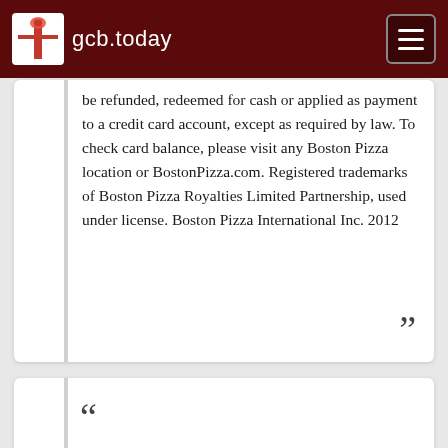gcb.today
be refunded, redeemed for cash or applied as payment to a credit card account, except as required by law. To check card balance, please visit any Boston Pizza location or BostonPizza.com. Registered trademarks of Boston Pizza Royalties Limited Partnership, used under license. Boston Pizza International Inc. 2012
Boston Pizza is a family restaurant and sports bar serving great food, including pizza, pasta, wings, at more than 390 locations across Canada. Available for...